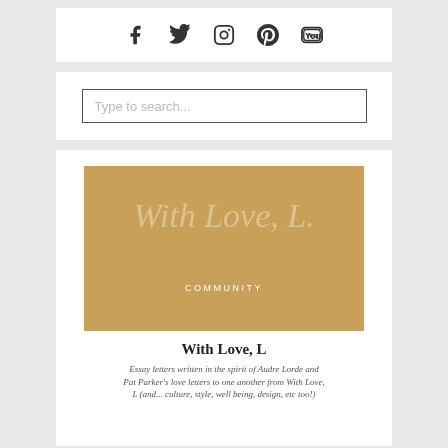[Figure (infographic): Social media icons row: Facebook, Twitter, Instagram, Pinterest, YouTube on white background]
Type to search...
[Figure (illustration): Article card with gold/tan background image showing italic watermark text 'With Love, L.' and 'COMMUNITY' label, followed by title 'With Love, L' and italic description text about essay letters written in the spirit of Audre Lorde and Pat Parker's love letters to one another from With Love, L (and... culture, style, well being, design, etc too!)]
With Love, L
Essay letters written in the spirit of Audre Lorde and Pat Parker's love letters to one another from With Love, L (and... culture, style, well being, design, etc too!)